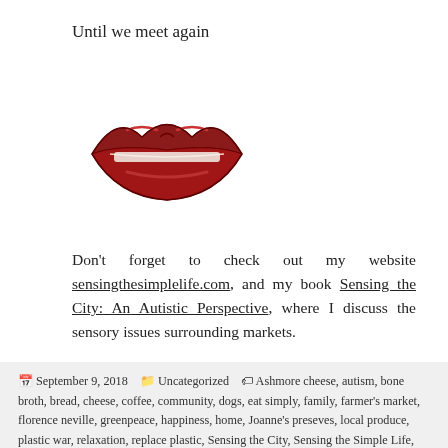Until we meet again
[Figure (illustration): Red lipstick kiss mark / lips illustration]
Don't forget to check out my website sensingthesimplelife.com, and my book Sensing the City: An Autistic Perspective, where I discuss the sensory issues surrounding markets.
September 9, 2018  Uncategorized  Ashmore cheese, autism, bone broth, bread, cheese, coffee, community, dogs, eat simply, family, farmer's market, florence neville, greenpeace, happiness, home, Joanne's preseves, local produce, plastic war, relaxation, replace plastic, Sensing the City, Sensing the Simple Life, simple living, Sunday morning, the autistic voice, The Captain's crackers, too much plastic, zingibery bakery